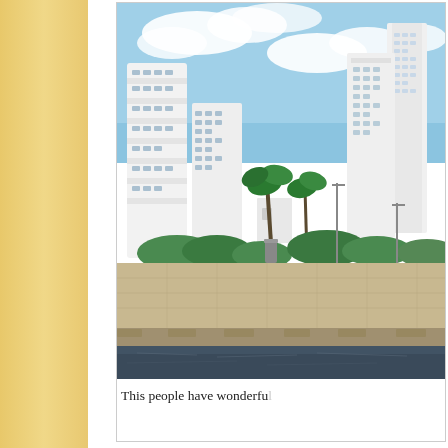[Figure (photo): Photograph of a coastal city scene with white high-rise residential buildings and skyscrapers, palm trees, a waterfront promenade with paved plaza, shrubs, and a dark body of water in the foreground with a stone seawall. The sky is blue with white clouds.]
This people have wonderfu
[Figure (photo): Partial photograph visible at bottom of page showing a blue sky with white clouds and tops of tropical trees or vegetation.]